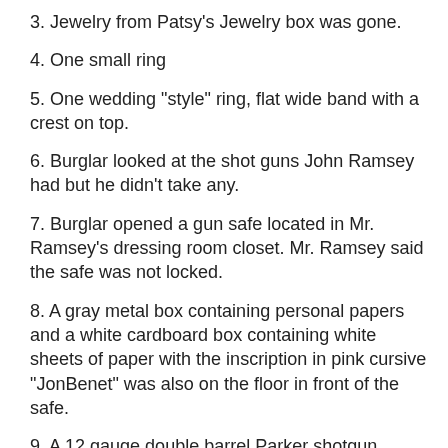3. Jewelry from Patsy's Jewelry box was gone.
4. One small ring
5. One wedding "style" ring, flat wide band with a crest on top.
6. Burglar looked at the shot guns John Ramsey had but he didn't take any.
7. Burglar opened a gun safe located in Mr. Ramsey's dressing room closet. Mr. Ramsey said the safe was not locked.
8. A gray metal box containing personal papers and a white cardboard box containing white sheets of paper with the inscription in pink cursive "JonBenet" was also on the floor in front of the safe.
9. A 12 gauge double barrel Parker shotgun, which was broken down in a leather carrying case, was also on the floor
10. Wallet described as alligator black shiny